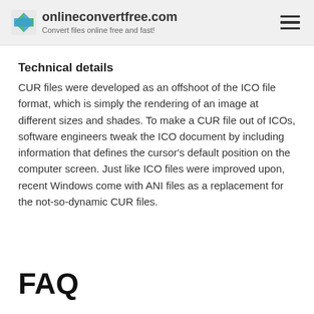onlineconvertfree.com — Convert files online free and fast!
Technical details
CUR files were developed as an offshoot of the ICO file format, which is simply the rendering of an image at different sizes and shades. To make a CUR file out of ICOs, software engineers tweak the ICO document by including information that defines the cursor's default position on the computer screen. Just like ICO files were improved upon, recent Windows come with ANI files as a replacement for the not-so-dynamic CUR files.
FAQ